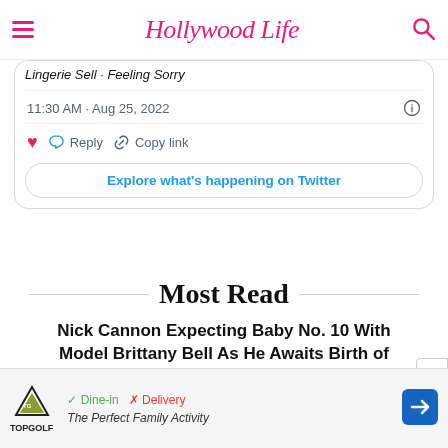Hollywood Life
Lingerie Sell · Feeling Sorry
11:30 AM · Aug 25, 2022
Reply   Copy link
Explore what's happening on Twitter
Most Read
Nick Cannon Expecting Baby No. 10 With Model Brittany Bell As He Awaits Birth of 9th Child
[Figure (infographic): Advertisement banner for TopGolf with Dine-in and Delivery tags and navigation arrow icon]